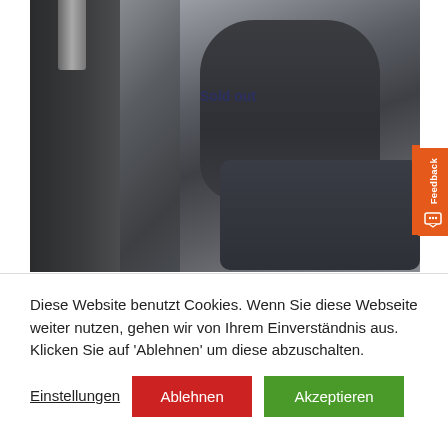[Figure (photo): A technician in dark work clothes crouching down and installing or adjusting a dark cylindrical component next to a tall dark panel or column. The image has a 'Sold out' text overlay in dark blue.]
Diese Website benutzt Cookies. Wenn Sie diese Webseite weiter nutzen, gehen wir von Ihrem Einverständnis aus. Klicken Sie auf 'Ablehnen' um diese abzuschalten.
Einstellungen
Ablehnen
Akzeptieren